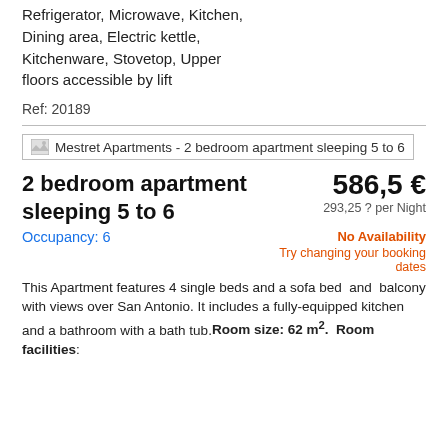Refrigerator, Microwave, Kitchen, Dining area, Electric kettle, Kitchenware, Stovetop, Upper floors accessible by lift
Ref: 20189
[Figure (photo): Mestret Apartments - 2 bedroom apartment sleeping 5 to 6]
2 bedroom apartment sleeping 5 to 6
Occupancy: 6
586,5 €
293,25 ? per Night
No Availability
Try changing your booking dates
This Apartment features 4 single beds and a sofa bed  and  balcony with views over San Antonio. It includes a fully-equipped kitchen and a bathroom with a bath tub. Room size: 62 m². Room facilities: